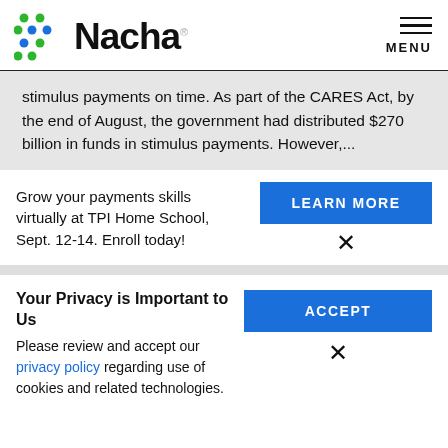[Figure (logo): Nacha logo with colorful dots pattern and Nacha wordmark]
stimulus payments on time. As part of the CARES Act, by the end of August, the government had distributed $270 billion in funds in stimulus payments. However,...
Grow your payments skills virtually at TPI Home School, Sept. 12-14. Enroll today!
LEARN MORE
Your Privacy is Important to Us
Please review and accept our privacy policy regarding use of cookies and related technologies.
ACCEPT